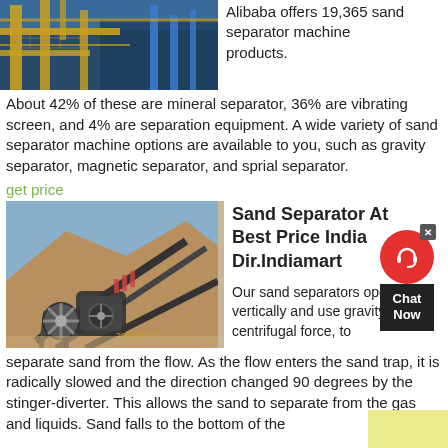[Figure (photo): Industrial sand separator machine with yellow metal structure and blue pipes/railings photographed from below]
Alibaba offers 19,365 sand separator machine products.
About 42% of these are mineral separator, 36% are vibrating screen, and 4% are separation equipment. A wide variety of sand separator machine options are available to you, such as gravity separator, magnetic separator, and sprial separator.
get price
[Figure (photo): Sand separator machine at a mining site with conveyor belts on a rocky hillside, date stamped 2012/02/14]
Sand Separator At Best Price India Dir.Indiamart
Our sand separators operate vertically and use gravity, not centrifugal force, to separate sand from the flow. As the flow enters the sand trap, it is radically slowed and the direction changed 90 degrees by the stinger-diverter. This allows the sand to separate from the gas and liquids. Sand falls to the bottom of the